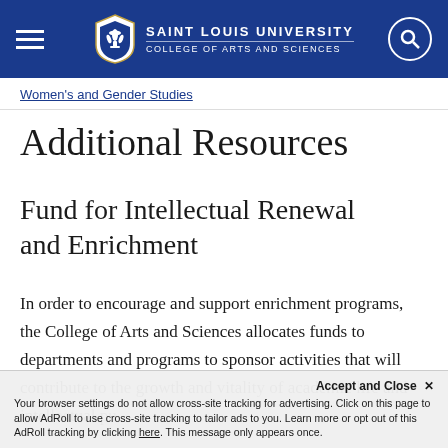SAINT LOUIS UNIVERSITY — COLLEGE OF ARTS AND SCIENCES
Women's and Gender Studies
Additional Resources
Fund for Intellectual Renewal and Enrichment
In order to encourage and support enrichment programs, the College of Arts and Sciences allocates funds to departments and programs to sponsor activities that will contribute to the growth and vitality of academic life and intellectual pu... graduate levels.
Your browser settings do not allow cross-site tracking for advertising. Click on this page to allow AdRoll to use cross-site tracking to tailor ads to you. Learn more or opt out of this AdRoll tracking by clicking here. This message only appears once.